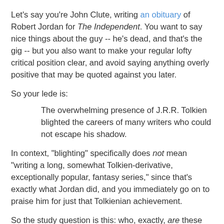Let's say you're John Clute, writing an obituary of Robert Jordan for The Independent. You want to say nice things about the guy -- he's dead, and that's the gig -- but you also want to make your regular lofty critical position clear, and avoid saying anything overly positive that may be quoted against you later.
So your lede is:
The overwhelming presence of J.R.R. Tolkien blighted the careers of many writers who could not escape his shadow.
In context, "blighting" specifically does not mean "writing a long, somewhat Tolkien-derivative, exceptionally popular, fantasy series," since that's exactly what Jordan did, and you immediately go on to praise him for just that Tolkienian achievement.
So the study question is this: who, exactly, are these writers blighted by the presence of Tolkien? And what on earth do they have to do with anything?